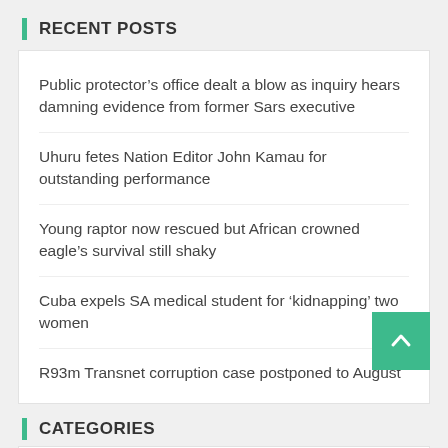RECENT POSTS
Public protector’s office dealt a blow as inquiry hears damning evidence from former Sars executive
Uhuru fetes Nation Editor John Kamau for outstanding performance
Young raptor now rescued but African crowned eagle’s survival still shaky
Cuba expels SA medical student for ‘kidnapping’ two women
R93m Transnet corruption case postponed to August
CATEGORIES
East Africa